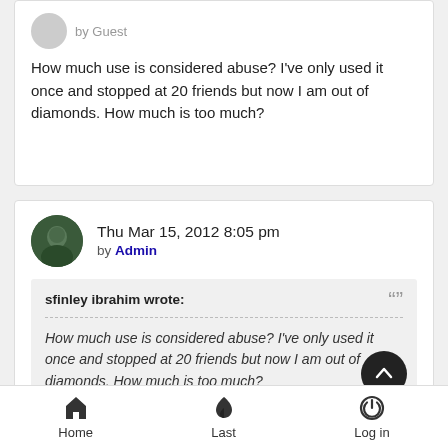by Guest
How much use is considered abuse? I've only used it once and stopped at 20 friends but now I am out of diamonds. How much is too much?
Thu Mar 15, 2012 8:05 pm by Admin
sfinley ibrahim wrote: How much use is considered abuse? I've only used it once and stopped at 20 friends but now I am out of diamonds. How much is too much?
Home   Last   Log in